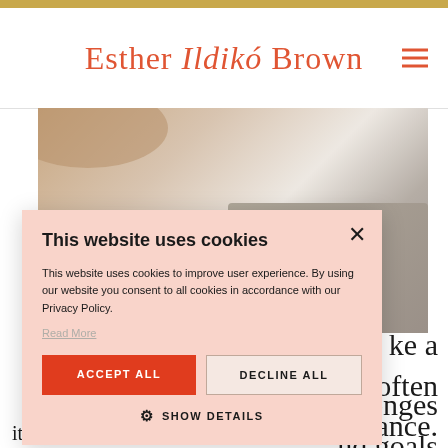Esther Ildikó Brown
[Figure (photo): Close-up photo of a person's hand near a laptop on a white surface]
[Figure (screenshot): Cookie consent popup with title 'This website uses cookies', body text, Accept All and Decline All buttons, and Show Details option]
ke a out often balance.
lenges nd goals
ith the traditional "co-pilot tto"